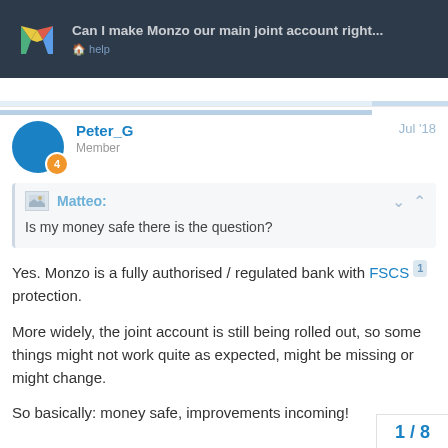Can I make Monzo our main joint account right... | help
Is my money safe there is the question?
Yes. Monzo is a fully authorised / regulated bank with FSCS 1 protection.
More widely, the joint account is still being rolled out, so some things might not work quite as expected, might be missing or might change.
So basically: money safe, improvements incoming!
1 / 8